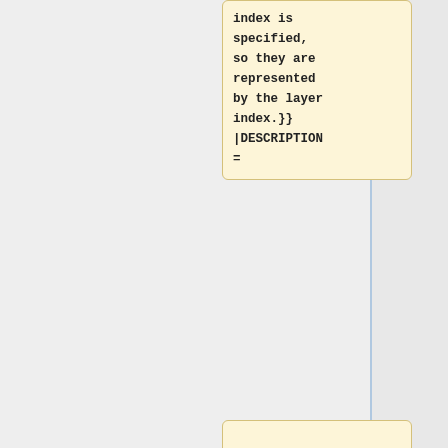index is specified, so they are represented by the layer index.}} |DESCRIPTION =
[Figure (other): Lined notepad-style empty text box with horizontal rules on cream/yellow background]
| [[allActiveTitleEffects]
|r1= [[Array]] of [[Number]]s,